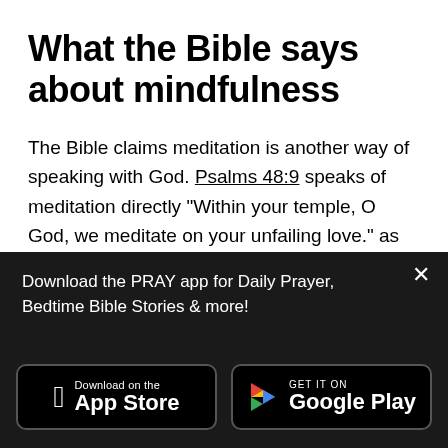What the Bible says about mindfulness
The Bible claims meditation is another way of speaking with God. Psalms 48:9 speaks of meditation directly “Within your temple, O God, we meditate on your unfailing love.” as does Joshua 1:8
Download the PRAY app for Daily Prayer, Bedtime Bible Stories & more!
[Figure (other): App Store download button for Apple iOS]
[Figure (other): Google Play download button for Android]